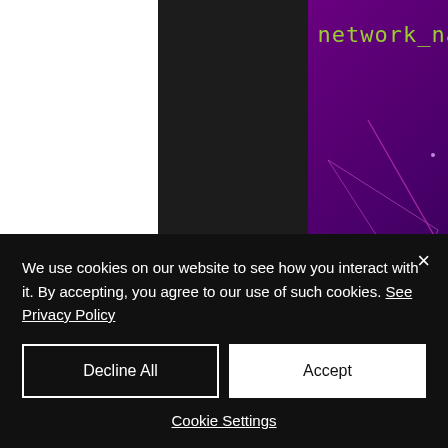[Figure (screenshot): Documentation page screenshot showing network_name label in green monospace, an upload arrow button, Additional Notes heading in orange italic bold, and partial text 'The Mobile AppsFlyer plugin has a sample In-' on dark background with purple decorative geometric pattern on the right side]
We use cookies on our website to see how you interact with it. By accepting, you agree to our use of such cookies. See Privacy Policy
Decline All
Accept
Cookie Settings